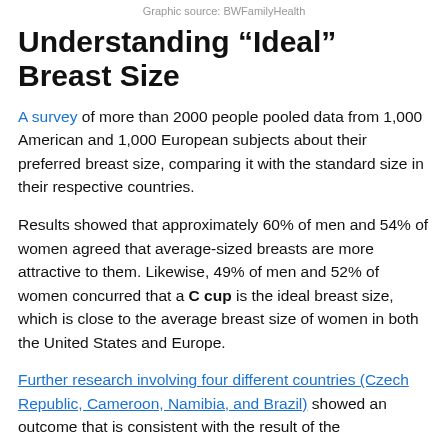Graphic source: BWFamilyHealth
Understanding “Ideal” Breast Size
A survey of more than 2000 people pooled data from 1,000 American and 1,000 European subjects about their preferred breast size, comparing it with the standard size in their respective countries.
Results showed that approximately 60% of men and 54% of women agreed that average-sized breasts are more attractive to them. Likewise, 49% of men and 52% of women concurred that a C cup is the ideal breast size, which is close to the average breast size of women in both the United States and Europe.
Further research involving four different countries (Czech Republic, Cameroon, Namibia, and Brazil) showed an outcome that is consistent with the result of the